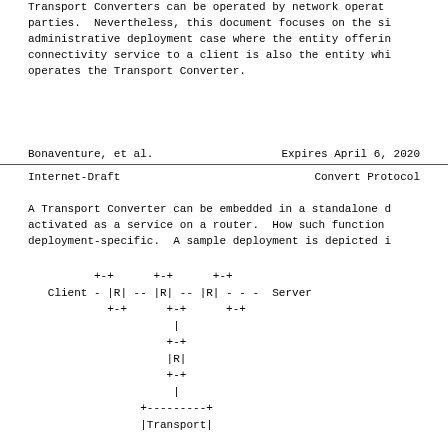Transport Converters can be operated by network operators or third parties. Nevertheless, this document focuses on the single administrative deployment case where the entity offering the connectivity service to a client is also the entity which operates the Transport Converter.
Bonaventure, et al.        Expires April 6, 2020
Internet-Draft                    Convert Protocol
A Transport Converter can be embedded in a standalone device or activated as a service on a router. How such functions are deployment-specific. A sample deployment is depicted in
[Figure (schematic): Network topology diagram showing Client connected to three routers (R) in series leading to Server, with a vertical branch from the middle router going down through another router (R) to a Transport Converter node.]